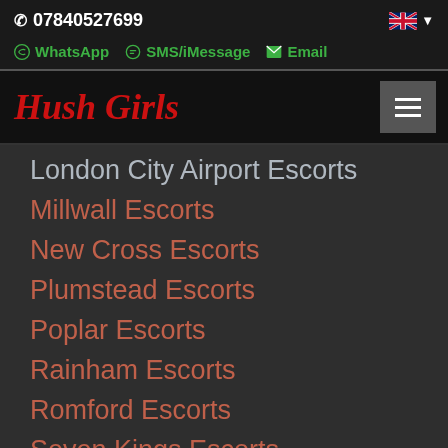07840527699
WhatsApp  SMS/iMessage  Email
Hush Girls
London City Airport Escorts
Millwall Escorts
New Cross Escorts
Plumstead Escorts
Poplar Escorts
Rainham Escorts
Romford Escorts
Seven Kings Escorts
Shooters Hill Escorts
Sidcup Escorts
Silvertown Escorts